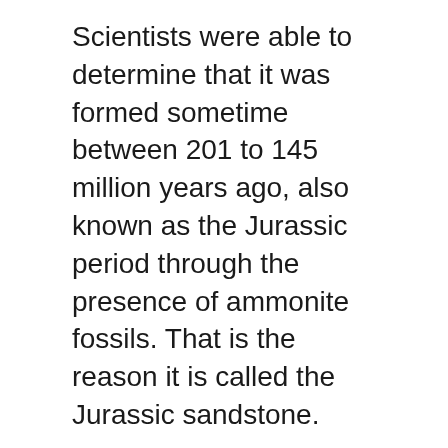Scientists were able to determine that it was formed sometime between 201 to 145 million years ago, also known as the Jurassic period through the presence of ammonite fossils. That is the reason it is called the Jurassic sandstone.
If you want to see this ancient specimen along with other interesting collections, give National Museum a visit once it is safe for us to go out again. But for now, enjoy its Museum From Home series.
Source: Text and image by the NMP Geology and Paleontology Division | National Museum of the Philippines (2021)
You may want to read: